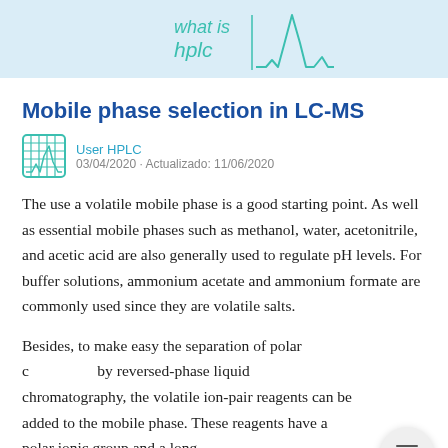[Figure (logo): what is hplc logo with chromatogram peaks on light blue background]
Mobile phase selection in LC-MS
User HPLC
03/04/2020 · Actualizado: 11/06/2020
The use a volatile mobile phase is a good starting point. As well as essential mobile phases such as methanol, water, acetonitrile, and acetic acid are also generally used to regulate pH levels. For buffer solutions, ammonium acetate and ammonium formate are commonly used since they are volatile salts.
Besides, to make easy the separation of polar compounds by reversed-phase liquid chromatography, the volatile ion-pair reagents can be added to the mobile phase. These reagents have a polar ionic group and a long